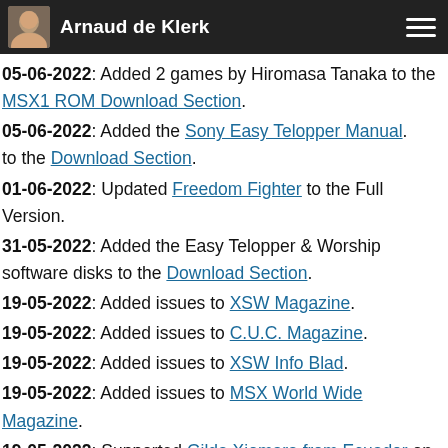Arnaud de Klerk
05-06-2022: Added 2 games by Hiromasa Tanaka to the MSX1 ROM Download Section.
05-06-2022: Added the Sony Easy Telopper Manual. to the Download Section.
01-06-2022: Updated Freedom Fighter to the Full Version.
31-05-2022: Added the Easy Telopper & Worship software disks to the Download Section.
19-05-2022: Added issues to XSW Magazine.
19-05-2022: Added issues to C.U.C. Magazine.
19-05-2022: Added issues to XSW Info Blad.
19-05-2022: Added issues to MSX World Wide Magazine.
19-05-2022: Supported Gilda Xiomara from Ecuador on Kiva.
19-05-2022: Supported Genesis Paola from Costa Rica on Kiva.